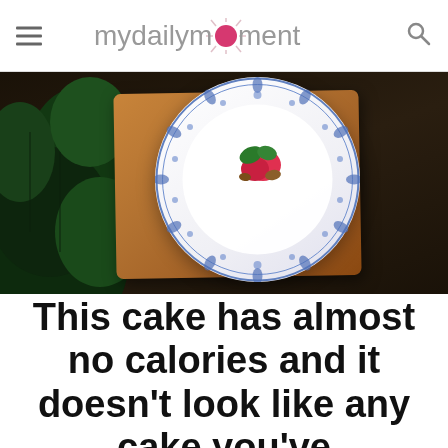mydailymoment
[Figure (photo): Overhead view of a white and blue floral-patterned plate on a wooden cutting board, with a small dessert topped with strawberry and mint leaves. Green plants visible on the left, dark wood table in background.]
This cake has almost no calories and it doesn't look like any cake you've